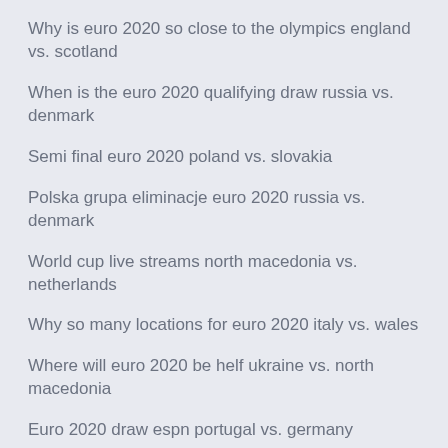Why is euro 2020 so close to the olympics england vs. scotland
When is the euro 2020 qualifying draw russia vs. denmark
Semi final euro 2020 poland vs. slovakia
Polska grupa eliminacje euro 2020 russia vs. denmark
World cup live streams north macedonia vs. netherlands
Why so many locations for euro 2020 italy vs. wales
Where will euro 2020 be helf ukraine vs. north macedonia
Euro 2020 draw espn portugal vs. germany
Live onlain meciurile euro 2020 hungary vs. france